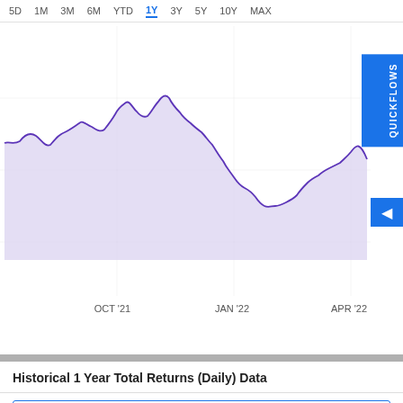[Figure (continuous-plot): 1-year stock total returns area chart with purple fill, showing data from around July 2021 to May 2022. X-axis labels: OCT '21, JAN '22, APR '22. The line trends down overall from upper left to lower right with peaks around Oct 2021 and Dec 2021, and a trough around Jan-Feb 2022.]
Historical 1 Year Total Returns (Daily) Data
View and export this data back to 2008. Upgrade
| Date | Value | Date |
| --- | --- | --- |
| August 29, 2022 | -9.53% | July 25, 2022 |
| August 26, 2022 | -8.34% | July 22, 2022 |